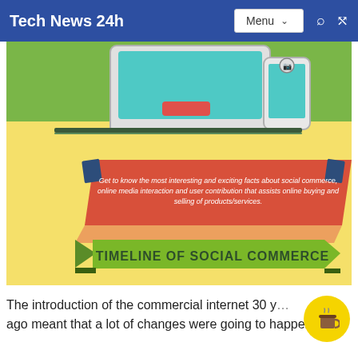Tech News 24h  Menu
[Figure (infographic): Infographic about Timeline of Social Commerce. Green and yellow background with a red banner containing text: 'Get to know the most interesting and exciting facts about social commerce, online media interaction and user contribution that assists online buying and selling of products/services.' A green ribbon banner at the bottom reads 'TIMELINE OF SOCIAL COMMERCE'. A laptop/tablet and phone visible at the top.]
The introduction of the commercial internet 30 y... ago meant that a lot of changes were going to happen